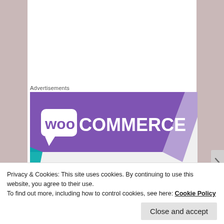Advertisements
[Figure (logo): WooCommerce advertisement banner — purple geometric background with WooCommerce logo in white text]
Another old park, it was privately opened in 1863 and became a State Park in 1906.  There are lovely old
[Figure (photo): Dark photograph, partially visible, showing trees or outdoor scenery]
Privacy & Cookies: This site uses cookies. By continuing to use this website, you agree to their use.
To find out more, including how to control cookies, see here: Cookie Policy
Close and accept